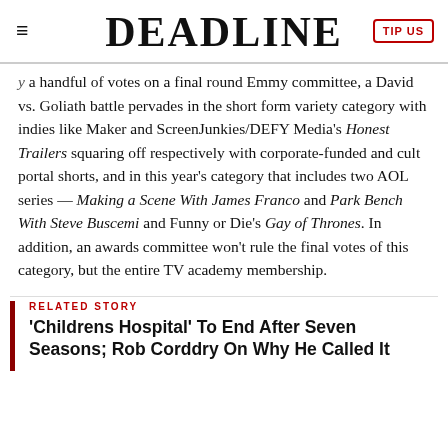DEADLINE
a handful of votes on a final round Emmy committee, a David vs. Goliath battle pervades in the short form variety category with indies like Maker and ScreenJunkies/DEFY Media's Honest Trailers squaring off respectively with corporate-funded and cult portal shorts, and in this year's category that includes two AOL series — Making a Scene With James Franco and Park Bench With Steve Buscemi and Funny or Die's Gay of Thrones. In addition, an awards committee won't rule the final votes of this category, but the entire TV academy membership.
RELATED STORY
'Childrens Hospital' To End After Seven Seasons; Rob Corddry On Why He Called It